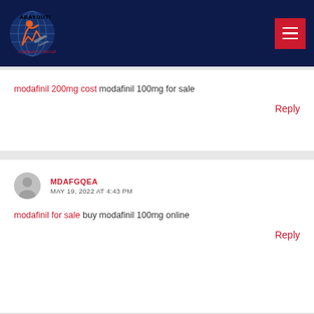Abayuuti Community Group
modafinil 200mg cost modafinil 100mg for sale
Reply
MDAFGQEA
MAY 19, 2022 AT 4:43 PM
modafinil for sale buy modafinil 100mg online
Reply